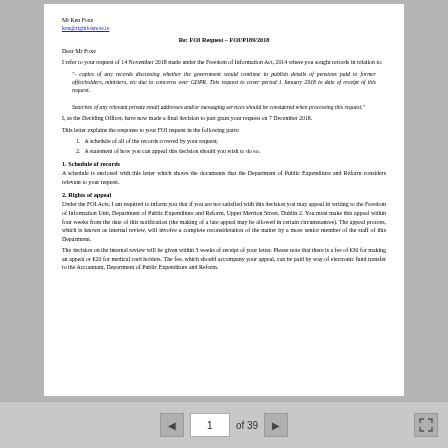Mr Ken Foxe
ken@righttoknow.ie
Re: FOI Request – FOI/P189/2018
Dear Mr Foxe
I refer to your request of 14 November 2018 made under the Freedom of Information Act, 2014 where you sought records in relation to:
"- copies of any records discussing whether the government would continue to publish details of pensions paid to former officeholders, ministers, etc due to concerns over GDPR. This request to cover period 1 January 2018 to date of receipt of this request.

Searches of any relevant private email addresses and/or messaging services should be considered when processing this request."
I, as the Deciding Officer, have now made a final decision to part grant your request on 7 December 2018.
This letter explains the response to your FOI request in the following parts:
A schedule of all of the records covered by your request;
A statement of how you can appeal this decision should you wish to do so.
1. Schedule of records
A schedule is enclosed with this letter which shows the documents that the Department of Public Expenditure and Reform considers relevant to your request.
2. Rights of appeal
Under the FOI Acts, I am required to inform you that if you are not satisfied with this decision you may appeal in writing to the Freedom of Information Unit, Department of Public Expenditure and Reform, Upper Merrion Street, Dublin 2. You must make this appeal within four weeks from the date of this notification (the making of a late appeal may be allowed in certain circumstances). The appeal process, which is known as internal review, will involve a complete reconsideration of the matter by a more senior member of the staff of this Department.
The decision on the internal review will be given within 3 weeks of receipt of your letter. Please note that there is a fee of €30 for making an appeal or €20 for medical card holders. The fee, which should accompany your appeal, can be paid by way of electronic fund transfer to the Accountant, Department of Public Expenditure and Reform.
1 of 39